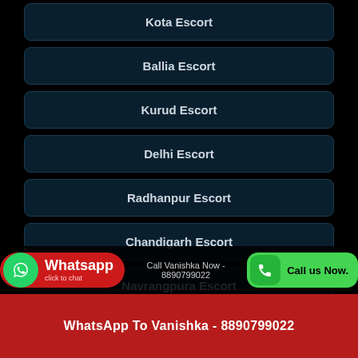Kota Escort
Ballia Escort
Kurud Escort
Delhi Escort
Radhanpur Escort
Chandigarh Escort
Navrangpura Escort
Patiala Escort
Call Vanishka Now - 8890799022
WhatsApp To Vanishka - 8890799022